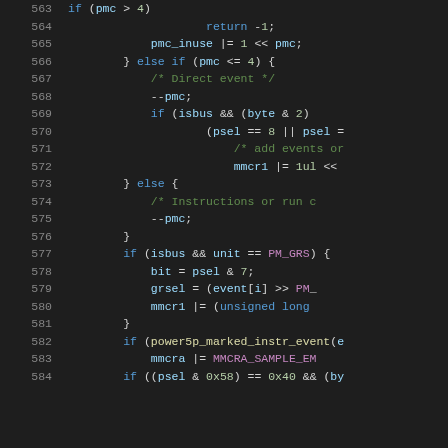[Figure (screenshot): Source code listing lines 563-584 showing C code for performance counter event handling, syntax highlighted on dark background]